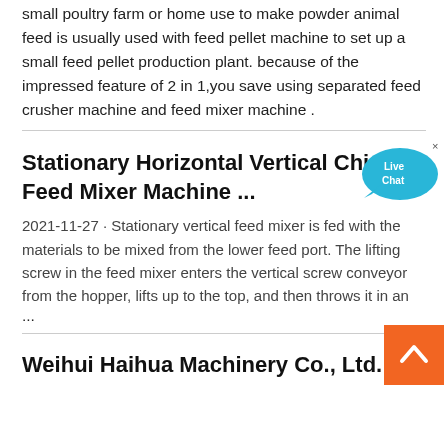small poultry farm or home use to make powder animal feed is usually used with feed pellet machine to set up a small feed pellet production plant. because of the impressed feature of 2 in 1,you save using separated feed crusher machine and feed mixer machine .
Stationary Horizontal Vertical Chicken Feed Mixer Machine ...
2021-11-27 · Stationary vertical feed mixer is fed with the materials to be mixed from the lower feed port. The lifting screw in the feed mixer enters the vertical screw conveyor from the hopper, lifts up to the top, and then throws it in an ...
Weihui Haihua Machinery Co., Ltd.